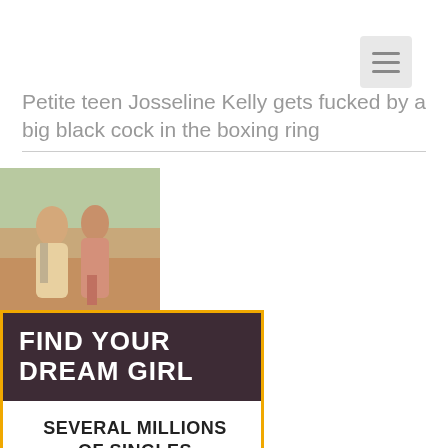[Figure (other): Navigation hamburger menu button in top right corner]
Petite teen Josseline Kelly gets fucked by a big black cock in the boxing ring
[Figure (photo): Thumbnail photo showing two female figures from behind outdoors]
[Figure (infographic): Advertisement banner: FIND YOUR DREAM GIRL - SEVERAL MILLIONS OF SINGLES WAITING FOR THE RIGHT MAN - GET IN NOW badge]